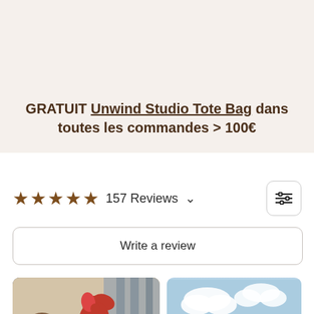GRATUIT Unwind Studio Tote Bag dans toutes les commandes > 100€
157 Reviews
Write a review
[Figure (photo): Embroidered tote bag with red flower design on woven background]
[Figure (photo): Review photo with sky/clouds in background with French language badge]